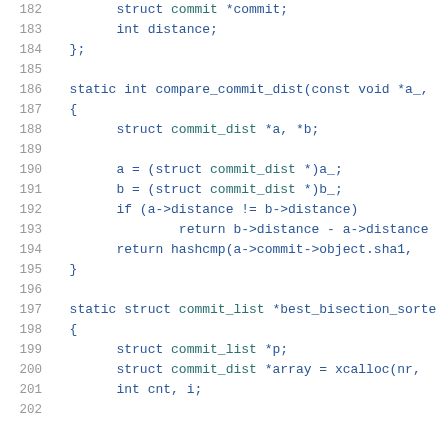182    struct commit *commit;
183    int distance;
184  };
185
186  static int compare_commit_dist(const void *a_, ...
187  {
188    struct commit_dist *a, *b;
189
190    a = (struct commit_dist *)a_;
191    b = (struct commit_dist *)b_;
192    if (a->distance != b->distance)
193        return b->distance - a->distance...
194    return hashcmp(a->commit->object.sha1, ...
195  }
196
197  static struct commit_list *best_bisection_sorte...
198  {
199    struct commit_list *p;
200    struct commit_dist *array = xcalloc(nr,...
201    int cnt, i;
202